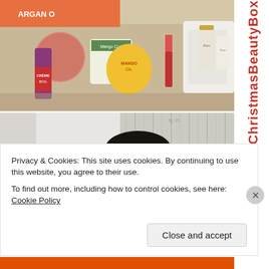[Figure (photo): Shelf with hair and beauty products including Argan Oil, Dark and Lovely Crème, Mango Oil, and a white cosmetic bag with perfume bottles and skincare products.]
[Figure (photo): Mannequin head wearing dark braided wig/hair, displayed against a frosted glass background.]
theChristmasBeautyBox
Privacy & Cookies: This site uses cookies. By continuing to use this website, you agree to their use.
To find out more, including how to control cookies, see here: Cookie Policy
Close and accept